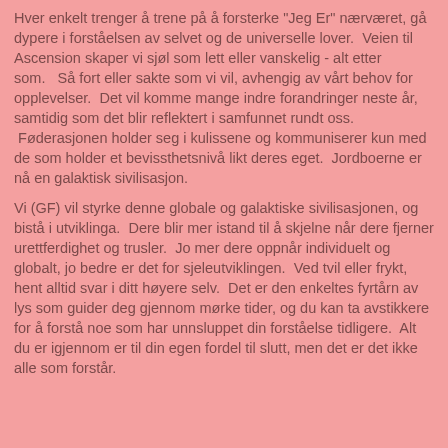Hver enkelt trenger å trene på å forsterke "Jeg Er" nærværet, gå dypere i forståelsen av selvet og de universelle lover.  Veien til Ascension skaper vi sjøl som lett eller vanskelig - alt etter som.   Så fort eller sakte som vi vil, avhengig av vårt behov for opplevelser.  Det vil komme mange indre forandringer neste år, samtidig som det blir reflektert i samfunnet rundt oss.
 Føderasjonen holder seg i kulissene og kommuniserer kun med de som holder et bevissthetsnivå likt deres eget.  Jordboerne er nå en galaktisk sivilisasjon.
Vi (GF) vil styrke denne globale og galaktiske sivilisasjonen, og bistå i utviklinga.  Dere blir mer istand til å skjelne når dere fjerner urettferdighet og trusler.  Jo mer dere oppnår individuelt og globalt, jo bedre er det for sjeleutviklingen.  Ved tvil eller frykt, hent alltid svar i ditt høyere selv.  Det er den enkeltes fyrtårn av lys som guider deg gjennom mørke tider, og du kan ta avstikkere for å forstå noe som har unnsluppet din forståelse tidligere.  Alt du er igjennom er til din egen fordel til slutt, men det er det ikke alle som forstår.